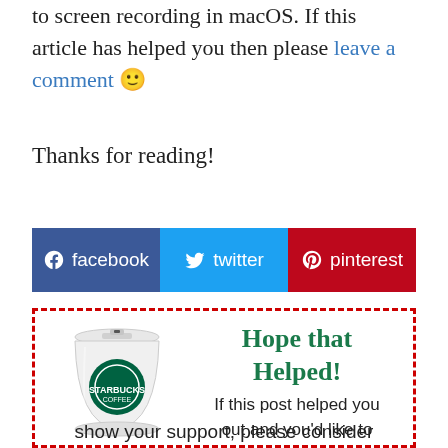to screen recording in macOS. If this article has helped you then please leave a comment 🙂
Thanks for reading!
[Figure (other): Social sharing buttons for Facebook, Twitter, and Pinterest]
[Figure (other): Dashed red border box with Starbucks coffee cup illustration and text: Hope that Helped! If this post helped you out and you'd like to show your support, please consider]
Hope that Helped!
If this post helped you out and you'd like to show your support, please consider
show your support, please consider